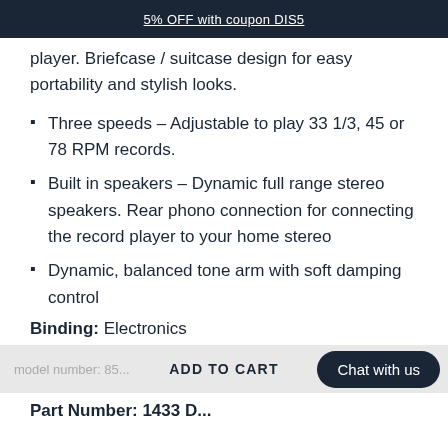5% OFF with coupon DIS5
player. Briefcase / suitcase design for easy portability and stylish looks.
Three speeds – Adjustable to play 33 1/3, 45 or 78 RPM records.
Built in speakers – Dynamic full range stereo speakers. Rear phono connection for connecting the record player to your home stereo
Dynamic, balanced tone arm with soft damping control
Binding: Electronics
model number: 85...   ADD TO CART   Chat with us
Part Number: 1433 D...